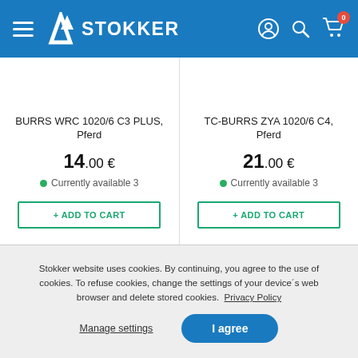STOKKER
BURRS WRC 1020/6 C3 PLUS, Pferd
14.00 €
Currently available 3
TC-BURRS ZYA 1020/6 C4, Pferd
21.00 €
Currently available 3
Stokker website uses cookies. By continuing, you agree to the use of cookies. To refuse cookies, change the settings of your device´s web browser and delete stored cookies. Privacy Policy
Manage settings | I agree